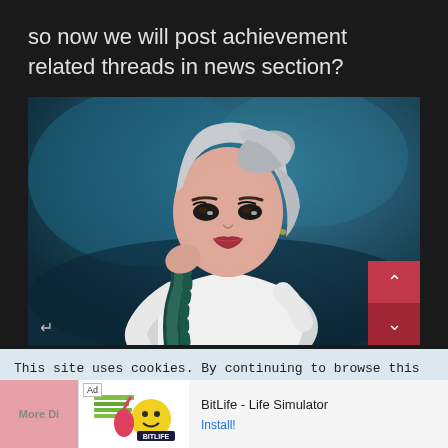so now we will post achievement related threads in news section?
[Figure (photo): A young woman with silver/white hair wearing a white outfit, holding a dark braided rope against a blue background. Music video style photo.]
This site uses cookies. By continuing to browse this site, you are agreeing to our use of cookies.
BitLife - Life Simulator
Install!